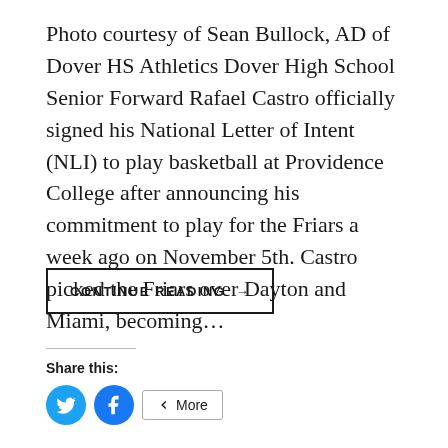Photo courtesy of Sean Bullock, AD of Dover HS Athletics Dover High School Senior Forward Rafael Castro officially signed his National Letter of Intent (NLI) to play basketball at Providence College after announcing his commitment to play for the Friars a week ago on November 5th. Castro picked the Friars over Dayton and Miami, becoming…
CONTINUE READING →
Share this: